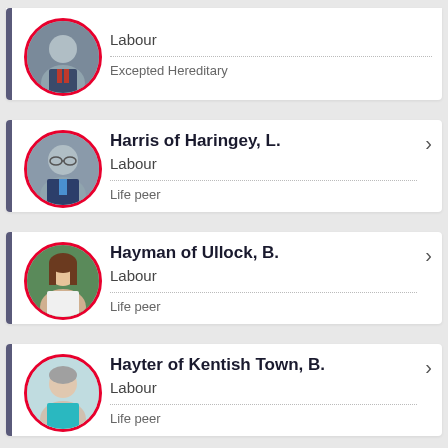Labour | Excepted Hereditary
Harris of Haringey, L. | Labour | Life peer
Hayman of Ullock, B. | Labour | Life peer
Hayter of Kentish Town, B. | Labour | Life peer